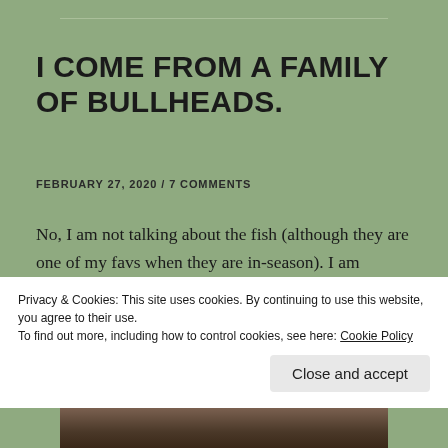I COME FROM A FAMILY OF BULLHEADS.
FEBRUARY 27, 2020 / 7 COMMENTS
No, I am not talking about the fish (although they are one of my favs when they are in-season).  I am talking about being stubborn.  Stubborn to the point of sinking your heels into the dirt, and not giving up till hell freezes over.
Privacy & Cookies: This site uses cookies. By continuing to use this website, you agree to their use.
To find out more, including how to control cookies, see here: Cookie Policy
Close and accept